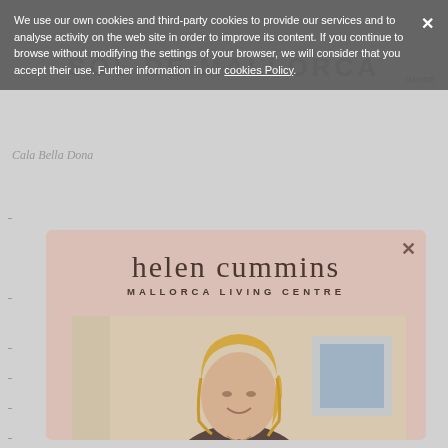We use our own cookies and third-party cookies to provide our services and to analyse activity on the web site in order to improve its content. If you continue to browse without modifying the settings of your browser, we will consider that you accept their use. Further information in our cookies Policy.
SOL DE MALLORCA
Cala Bella Dona
[Figure (logo): Helen Cummins Mallorca Living Centre logo with modal popup showing a professional photo of a blonde woman smiling, set against a mauve/pink background modal]